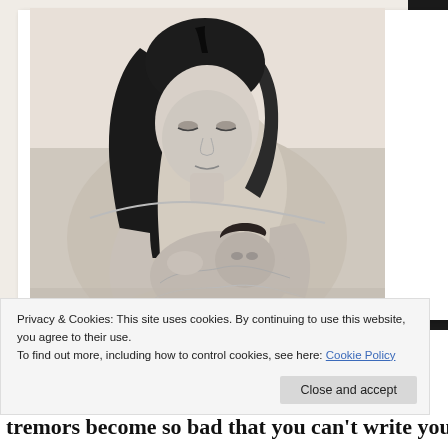[Figure (photo): Black and white photograph of a woman with dark hair looking down and breastfeeding a newborn baby. The image has a vintage/retro quality with rounded corners, set against a light background with a dark strip on the right edge.]
Privacy & Cookies: This site uses cookies. By continuing to use this website, you agree to their use.
To find out more, including how to control cookies, see here: Cookie Policy
Close and accept
tremors become so bad that you can't write your name